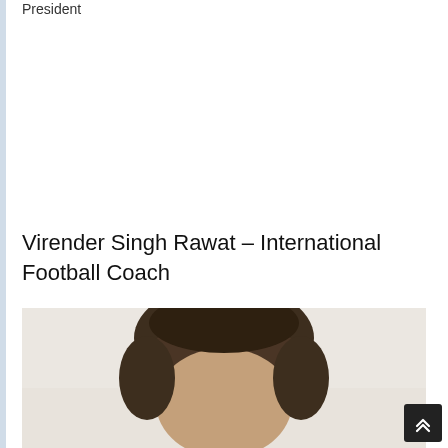President
Virender Singh Rawat – International Football Coach
[Figure (photo): Portrait photo of a person (Virender Singh Rawat), showing the top of head with dark hair, against a light background. The photo is cropped at the top of the frame showing mainly the hair and top of face.]